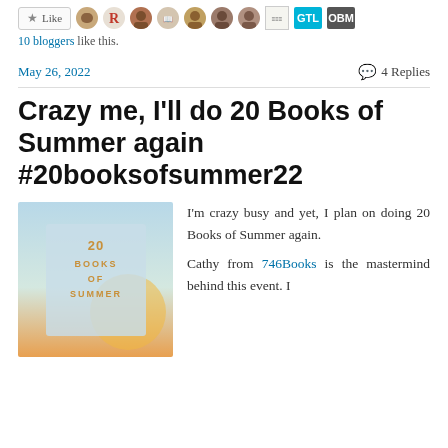[Figure (other): Like button with star icon followed by a row of blogger avatar images and two logo badges (GTL, OBM)]
10 bloggers like this.
May 26, 2022   💬 4 Replies
Crazy me, I'll do 20 Books of Summer again #20booksofsummer22
[Figure (illustration): Book cover for '20 Books of Summer' with stylized text on a pastel blue and warm orange gradient background]
I'm crazy busy and yet, I plan on doing 20 Books of Summer again.

Cathy from 746Books is the mastermind behind this event. I